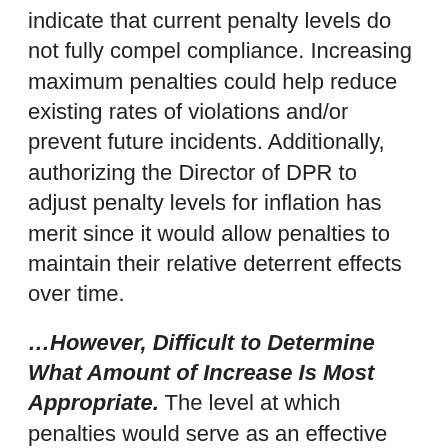indicate that current penalty levels do not fully compel compliance. Increasing maximum penalties could help reduce existing rates of violations and/or prevent future incidents. Additionally, authorizing the Director of DPR to adjust penalty levels for inflation has merit since it would allow penalties to maintain their relative deterrent effects over time.
…However, Difficult to Determine What Amount of Increase Is Most Appropriate. The level at which penalties would serve as an effective deterrent for pesticide violations but do not present an excessive burden for violators—particularly for more minor offenses—is not clear cut. If trued up for inflation, CAC administrative penalties and civil and criminal penalties would be roughly 1.5 and 2 times higher than their current levels, respectively. The Governor, however, proposes to increase penalties above the inflation adjustments—3 times their current levels in most cases. According to the